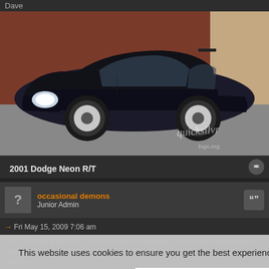Dave
[Figure (photo): Black 2001 Dodge Neon R/T car parked in front of a brick wall, side/front 3/4 view. Watermark 'quicksilvr' and 'logs.org' visible in lower right.]
2001 Dodge Neon R/T
occasional demons
Junior Admin
Fri May 15, 2009 7:06 am
This website uses cookies to ensure you get the best experience on our website. Learn more
Got it!
Well as far as testing a sender, IDK how you could get the voltage value out of the car. But I can get the volts too. Must have to wait 350 to 400 miles for the tank to empy.